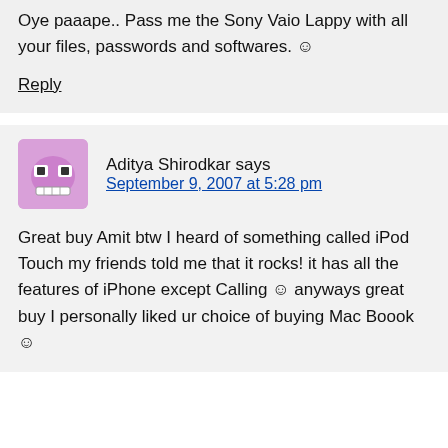Oye paaape.. Pass me the Sony Vaio Lappy with all your files, passwords and softwares. ☺
Reply
Aditya Shirodkar says
September 9, 2007 at 5:28 pm
Great buy Amit btw I heard of something called iPod Touch my friends told me that it rocks! it has all the features of iPhone except Calling 🙂 anyways great buy I personally liked ur choice of buying Mac Boook 🙂